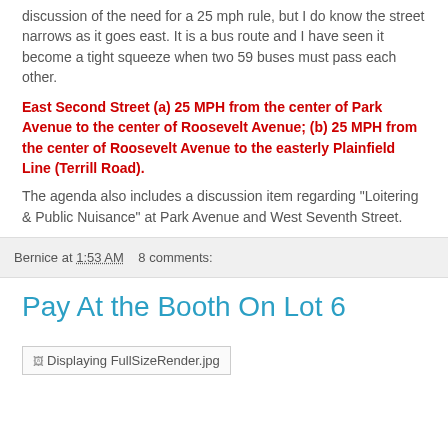discussion of the need for a 25 mph rule, but I do know the street narrows as it goes east. It is a bus route and I have seen it become a tight squeeze when two 59 buses must pass each other.
East Second Street (a) 25 MPH from the center of Park Avenue to the center of Roosevelt Avenue; (b) 25 MPH from the center of Roosevelt Avenue to the easterly Plainfield Line (Terrill Road).
The agenda also includes a discussion item regarding "Loitering & Public Nuisance" at Park Avenue and West Seventh Street.
Bernice at 1:53 AM   8 comments:
Pay At the Booth On Lot 6
[Figure (photo): Broken image placeholder: Displaying FullSizeRender.jpg]